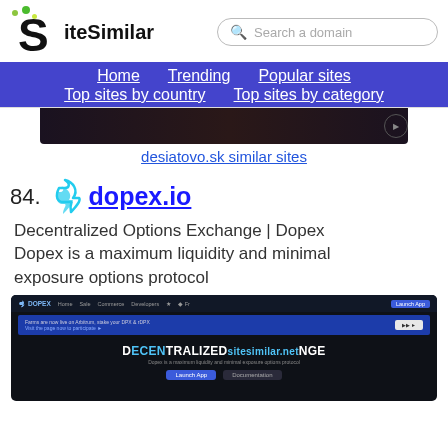SiteSimilar — Search a domain — Home | Trending | Popular sites | Top sites by country | Top sites by category
[Figure (screenshot): Partial screenshot of desiatovo.sk website]
desiatovo.sk similar sites
84. dopex.io — Decentralized Options Exchange | Dopex — Dopex is a maximum liquidity and minimal exposure options protocol
[Figure (screenshot): Screenshot of dopex.io website showing DECENTRALIZED EXCHANGE hero text with navigation bar and banner]